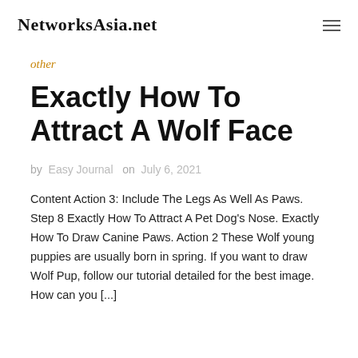NetworksAsia.net
other
Exactly How To Attract A Wolf Face
by Easy Journal on July 6, 2021
Content Action 3: Include The Legs As Well As Paws. Step 8 Exactly How To Attract A Pet Dog’s Nose. Exactly How To Draw Canine Paws. Action 2 These Wolf young puppies are usually born in spring. If you want to draw Wolf Pup, follow our tutorial detailed for the best image. How can you [...]